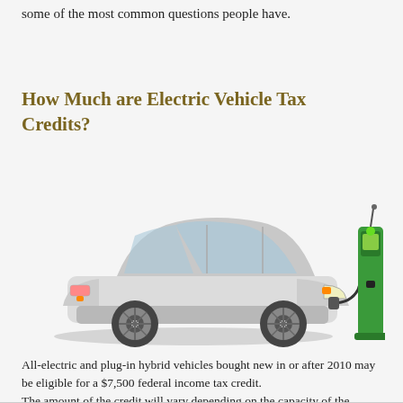some of the most common questions people have.
How Much are Electric Vehicle Tax Credits?
[Figure (illustration): A silver electric car (hatchback) plugged into a green electric vehicle charging station on the right side.]
All-electric and plug-in hybrid vehicles bought new in or after 2010 may be eligible for a $7,500 federal income tax credit.
The amount of the credit will vary depending on the capacity of the battery used to power the car…. Read the rest